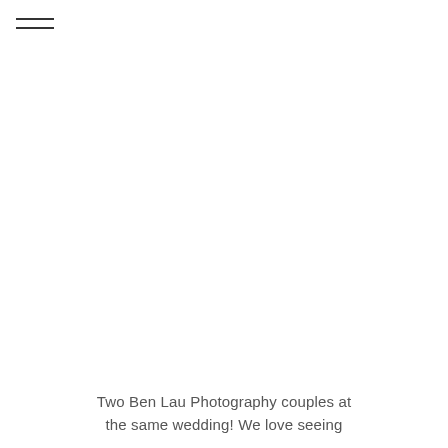[Figure (other): Hamburger menu icon with two horizontal lines at top left corner]
Two Ben Lau Photography couples at the same wedding! We love seeing